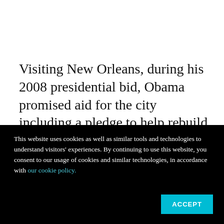Visiting New Orleans, during his 2008 presidential bid, Obama promised aid for the city including a pledge to help rebuild schools.
Ten years after Katrina, the city's educational
This website uses cookies as well as similar tools and technologies to understand visitors' experiences. By continuing to use this website, you consent to our usage of cookies and similar technologies, in accordance with our cookie policy.